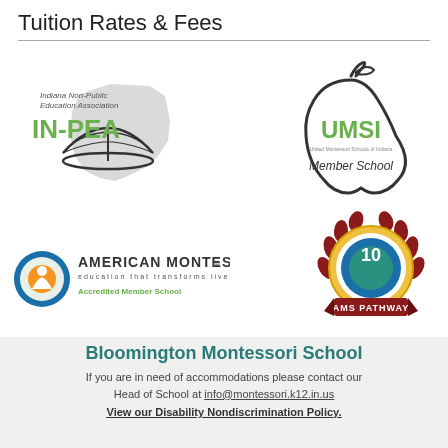Tuition Rates & Fees
[Figure (logo): Indiana Non-Public Education Association (INPEA) logo with green text and Indiana state outline with open book graphic]
[Figure (logo): UMSI (United Montessori Schools of Indiana) Member School logo in apple shape]
[Figure (logo): American Montessori Society Accredited Member School logo with circular orange and blue icon]
[Figure (logo): AMS Pathway 10 badge/emblem with gold ring, blue/green center, red laurel wreath]
Bloomington Montessori School
If you are in need of accommodations please contact our Head of School at info@montessori.k12.in.us
View our Disability Nondiscrimination Policy.